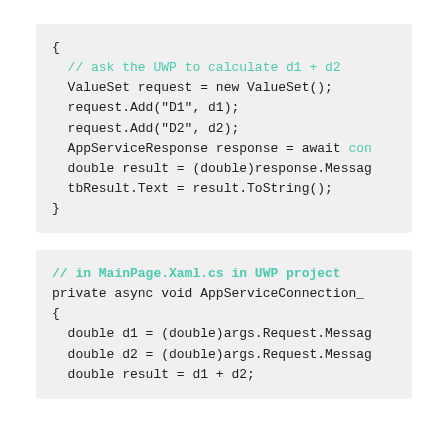{
  // ask the UWP to calculate d1 + d2
  ValueSet request = new ValueSet();
  request.Add("D1", d1);
  request.Add("D2", d2);
  AppServiceResponse response = await con
  double result = (double)response.Messag
  tbResult.Text = result.ToString();
}
// in MainPage.Xaml.cs in UWP project
private async void AppServiceConnection_
{
  double d1 = (double)args.Request.Messag
  double d2 = (double)args.Request.Messag
  double result = d1 + d2;